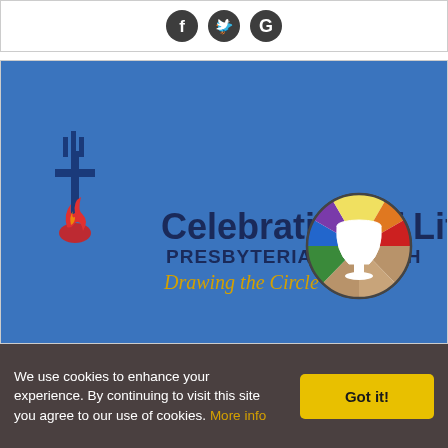[Figure (logo): Social media icons: Facebook (f), Twitter (bird), Google (G) in dark circular buttons on white background]
[Figure (logo): Celebration of Life Presbyterian Church logo on blue background. Includes a stylized cross with flame, the text 'Celebration of Life' in large dark font, 'PRESBYTERIAN CHURCH' in medium navy font, 'Drawing the Circle Wide' in gold italic font, and a multicolored circular chalice/communion cup symbol on the right.]
We use cookies to enhance your experience. By continuing to visit this site you agree to our use of cookies. More info